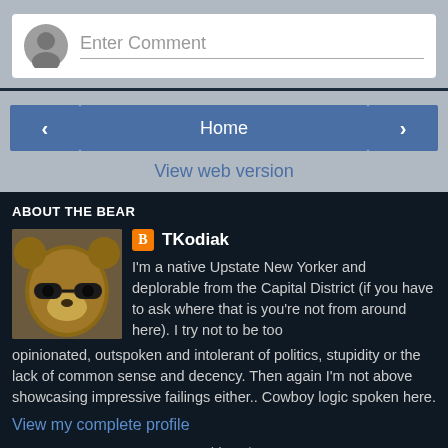[Figure (screenshot): Comment input box with user avatar and 'Enter Comment' placeholder text]
[Figure (screenshot): Navigation buttons: left arrow, Home, right arrow, and View web version link]
ABOUT THE BEAR
[Figure (photo): Bear wearing sunglasses - profile photo for TKodiak]
TKodiak
I'm a native Upstate New Yorker and deplorable from the Capital District (if you have to ask where that is you're not from around here). I try not to be too opinionated, outspoken and intolerant of politics, stupidity or the lack of common sense and decency. Then again I'm not above showcasing impressive failings either.. Cowboy logic spoken here.
View my complete profile
Powered by Blogger.